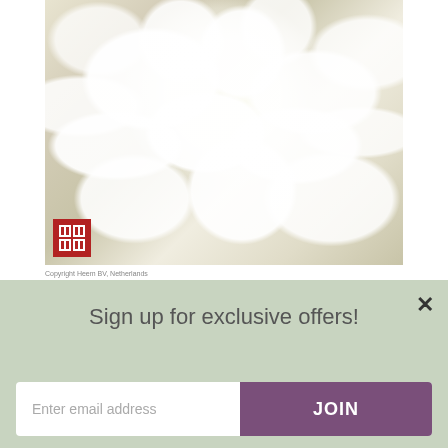[Figure (photo): Close-up photo of white Hydrangea paniculata 'Grandiflora' flowers with a nursery logo mark in the bottom-left corner]
Copyright Heem BV, Netherlands
Hydrangea paniculata 'Grandiflora'
[Figure (other): 4 out of 5 star rating showing 4 filled orange stars and 1 empty star, with '7 Reviews' label]
Sun shade
Grows in: Borders
Sign up for exclusive offers!
Enter email address
JOIN